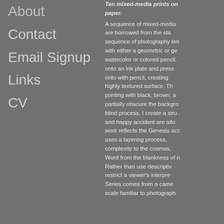About
Contact
Email Signup
Links
CV
Ten mixed-media prints on paper. A sequence of mixed-media are borrowed from the sta sequence of photography len with either a geometric or ge watercolor or colored pencil. onto an ink plate and press onto with pencil, creating highly textured surface. Th printing with black, brown, a partially obscure the backgro blind process, I create a stru and happy accident are allo work reflects the Genesis acc uses a layering process, complexity to the cosmos, Word from the blankness of n Rather than use descriptiv restrict a viewer's interpre Series comes from a came scale familiar to photograph